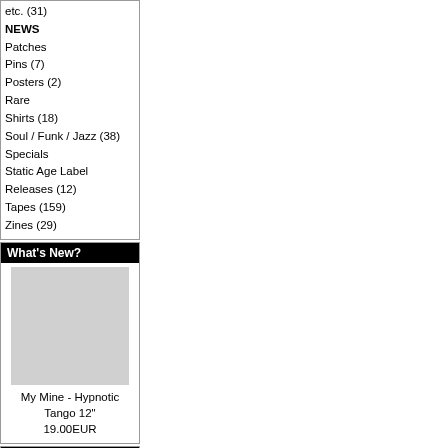etc. (31)
NEWS
Patches
Pins (7)
Posters (2)
Rare
Shirts (18)
Soul / Funk / Jazz (38)
Specials
Static Age Label
Releases (12)
Tapes (159)
Zines (29)
What's New?
[Figure (photo): Product image placeholder for My Mine - Hypnotic Tango 12"]
My Mine - Hypnotic Tango 12"
19.00EUR
Quick Find
Advanced Search
Information
Shipping & Returns